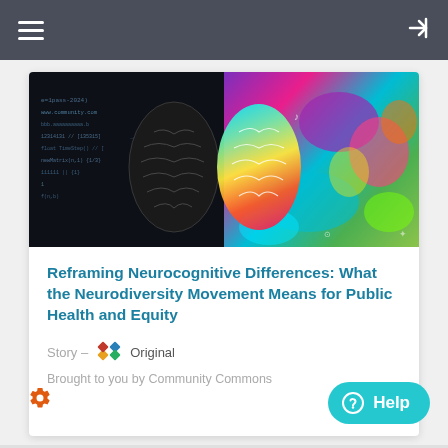Navigation bar with hamburger menu and login icon
[Figure (illustration): Split brain digital illustration: left half shows dark background with code/circuit equations, right half shows colorful rainbow-lit brain with vibrant abstract color splash]
Reframing Neurocognitive Differences: What the Neurodiversity Movement Means for Public Health and Equity
Story – Original
Brought to you by Community Commons